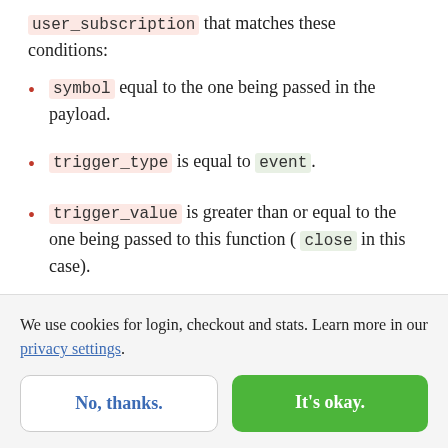user_subscription that matches these conditions:
symbol equal to the one being passed in the payload.
trigger_type is equal to event.
trigger_value is greater than or equal to the one being passed to this function (close in this case).
Once we get the list of users, the only thing that
We use cookies for login, checkout and stats. Learn more in our privacy settings.
No, thanks.
It's okay.